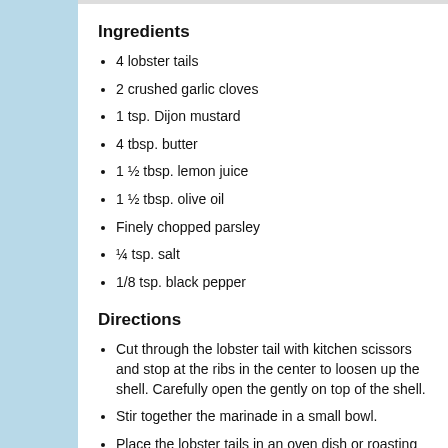Ingredients
4 lobster tails
2 crushed garlic cloves
1 tsp. Dijon mustard
4 tbsp. butter
1 ½ tbsp. lemon juice
1 ½ tbsp. olive oil
Finely chopped parsley
¼ tsp. salt
1/8 tsp. black pepper
Directions
Cut through the lobster tail with kitchen scissors and stop at the ribs in the center to loosen up the shell. Carefully open the gently on top of the shell.
Stir together the marinade in a small bowl.
Place the lobster tails in an oven dish or roasting pan, the